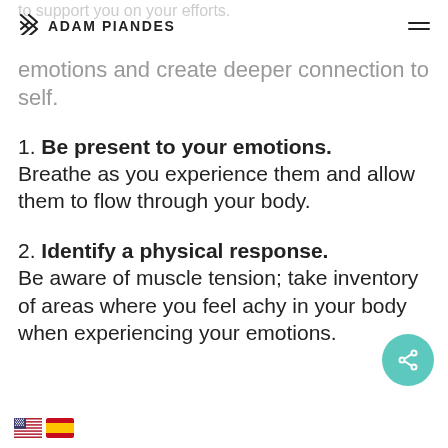ADAM PIANDES
to support you on your efforts. Here are 3 ways to tap into your emotions and create deeper connection to self.
1. Be present to your emotions. Breathe as you experience them and allow them to flow through your body.
2. Identify a physical response. Be aware of muscle tension; take inventory of areas where you feel achy in your body when experiencing your emotions.